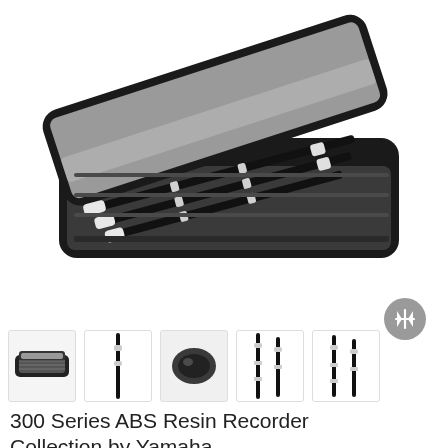[Figure (photo): A black rectangular carrying case open, showing three black ABS resin recorders with white mouthpieces arranged diagonally inside the gray-lined interior. The case has a zipper and a transparent mesh pocket on the lid.]
[Figure (photo): Row of five product thumbnail images: (1) the closed carrying case with recorders visible, (2) a single black recorder standing upright, (3) close-up of the recorder mouthpiece/head joint, (4) two black recorders side by side, (5) two black recorders side by side at a slight angle.]
300 Series ABS Resin Recorder Collection by Yamaha